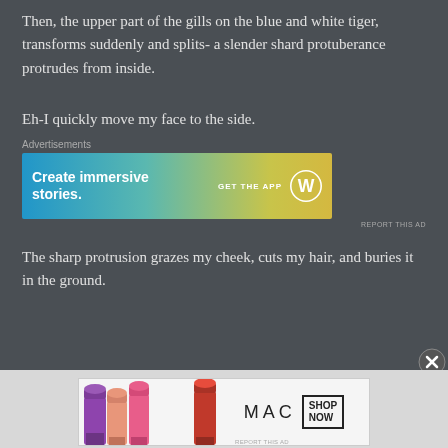Then, the upper part of the gills on the blue and white tiger, transforms suddenly and splits- a slender shard protuberance protrudes from inside.
Eh-I quickly move my face to the side.
[Figure (other): Advertisement banner for WordPress app: 'Create immersive stories. GET THE APP' with WordPress logo on gradient blue-to-yellow background. Labeled 'Advertisements' above and 'REPORT THIS AD' below.]
The sharp protrusion grazes my cheek, cuts my hair, and buries it in the ground.
[Figure (other): Advertisement banner for MAC cosmetics showing colorful lipsticks, MAC logo text, and 'SHOP NOW' button box.]